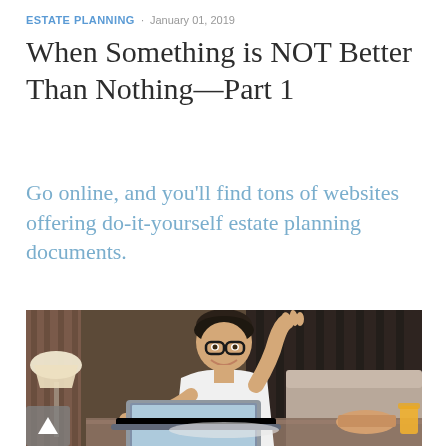ESTATE PLANNING · January 01, 2019
When Something is NOT Better Than Nothing—Part 1
Go online, and you'll find tons of websites offering do-it-yourself estate planning documents.
[Figure (photo): A young man with glasses wearing a white t-shirt, waving at a laptop screen while sitting at a table with food and juice nearby, in a living room setting with a lamp and sofa visible.]